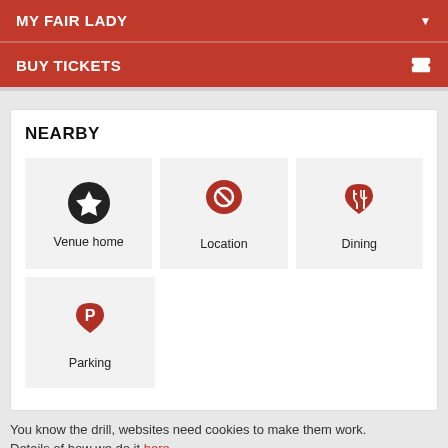MY FAIR LADY
BUY TICKETS
NEARBY
[Figure (infographic): Four navigation icons in a grid: Venue home (star icon), Location (map pin with no-entry symbol), Dining (map pin with fork and knife), Parking (map pin with P)]
You know the drill, websites need cookies to make them work. Details of how we do it here.
Got it!